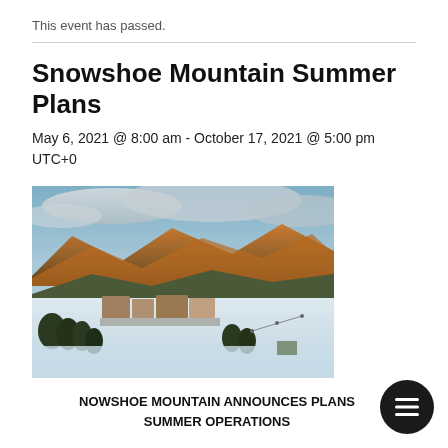This event has passed.
Snowshoe Mountain Summer Plans
May 6, 2021 @ 8:00 am - October 17, 2021 @ 5:00 pm UTC+0
[Figure (photo): Aerial winter view of Snowshoe Mountain resort with snow-covered slopes, lodge buildings, conifer trees in foreground, and mountain ridges with warm sunset light in the background under cloudy sky.]
NOWSHOE MOUNTAIN ANNOUNCES PLANS SUMMER OPERATIONS